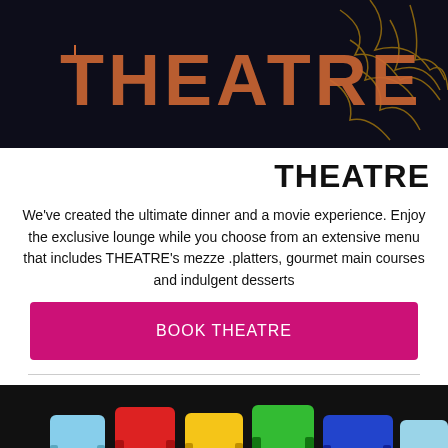[Figure (photo): Theatre sign with golden 'THEATRE' text on dark background with decorative lighting]
THEATRE
We've created the ultimate dinner and a movie experience. Enjoy the exclusive lounge while you choose from an extensive menu that includes THEATRE's mezze platters, gourmet main courses and indulgent desserts.
BOOK THEATRE
[Figure (photo): Colorful cinema seats in red, yellow, green, blue and light blue arranged in rows in a dark theatre]